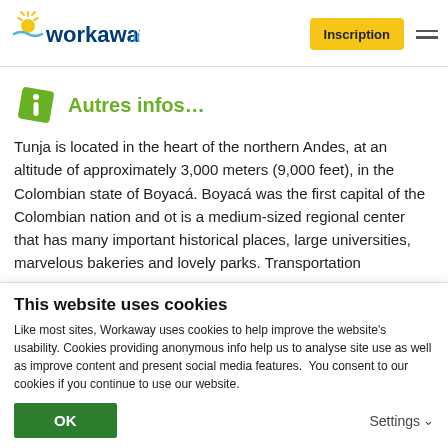workaway.info — Inscription
Autres infos…
Tunja is located in the heart of the northern Andes, at an altitude of approximately 3,000 meters (9,000 feet), in the Colombian state of Boyacá. Boyacá was the first capital of the Colombian nation and ot is a medium-sized regional center that has many important historical places, large universities, marvelous bakeries and lovely parks. Transportation
This website uses cookies
Like most sites, Workaway uses cookies to help improve the website's usability. Cookies providing anonymous info help us to analyse site use as well as improve content and present social media features.  You consent to our cookies if you continue to use our website.
OK
Settings